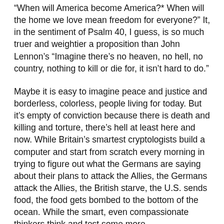"When will America become America?* When will the home we love mean freedom for everyone?" It, in the sentiment of Psalm 40, I guess, is so much truer and weightier a proposition than John Lennon's "Imagine there's no heaven, no hell, no country, nothing to kill or die for, it isn't hard to do."
Maybe it is easy to imagine peace and justice and borderless, colorless, people living for today. But it's empty of conviction because there is death and killing and torture, there's hell at least here and now. While Britain's smartest cryptologists build a computer and start from scratch every morning in trying to figure out what the Germans are saying about their plans to attack the Allies, the Germans attack the Allies, the British starve, the U.S. sends food, the food gets bombed to the bottom of the ocean. While the smart, even compassionate thinkers think and test some more.
While we read books and have meetings and make statements (write blogs) about our dreams for the world to live as one... While we debate whether #blacklivesmatter needs more leadership or (imaginable) goals, my friend's